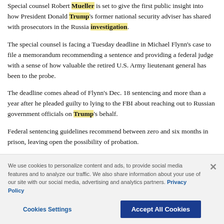Special counsel Robert Mueller is set to give the first public insight into how President Donald Trump's former national security adviser has shared with prosecutors in the Russia investigation.
The special counsel is facing a Tuesday deadline in Michael Flynn's case to file a memorandum recommending a sentence and providing a federal judge with a sense of how valuable the retired U.S. Army lieutenant general has been to the probe.
The deadline comes ahead of Flynn's Dec. 18 sentencing and more than a year after he pleaded guilty to lying to the FBI about reaching out to Russian government officials on Trump's behalf.
Federal sentencing guidelines recommend between zero and six months in prison, leaving open the possibility of probation.
The detailing of at least some of Flynn's cooperation also comes as Trump has vented his anger at the probe - and at one of his former confidantes who coope
Categories
We use cookies to personalize content and ads, to provide social media features and to analyze our traffic. We also share information about your use of our site with our social media, advertising and analytics partners. Privacy Policy